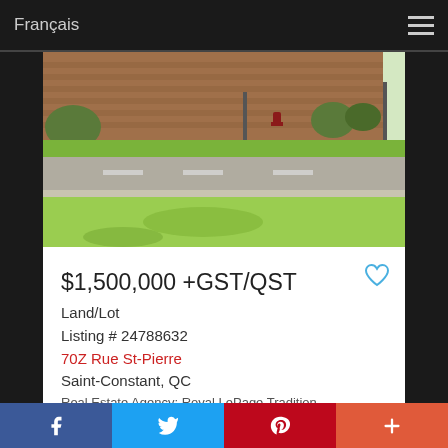Français
[Figure (photo): Street-level photo of an empty lot across a road, with a brick building, grass lawn, sidewalk, and road visible. A red fire hydrant can be seen near the building.]
$1,500,000 +GST/QST
Land/Lot
Listing # 24788632
70Z Rue St-Pierre
Saint-Constant, QC
Real Estate Agency: Royal LePage Tradition